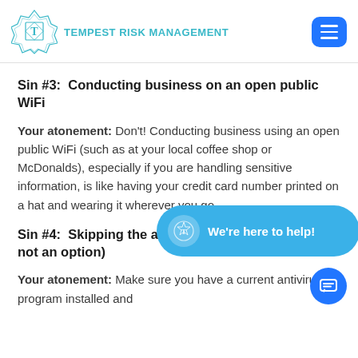Tempest Risk Management
Sin #3:  Conducting business on an open public WiFi
Your atonement: Don't! Conducting business using an open public WiFi (such as at your local coffee shop or McDonalds), especially if you are handling sensitive information, is like having your credit card number printed on a hat and wearing it wherever you go.
Sin #4:  Skipping the antivirus option (hint … it's not an option)
Your atonement: Make sure you have a current antivirus program installed and